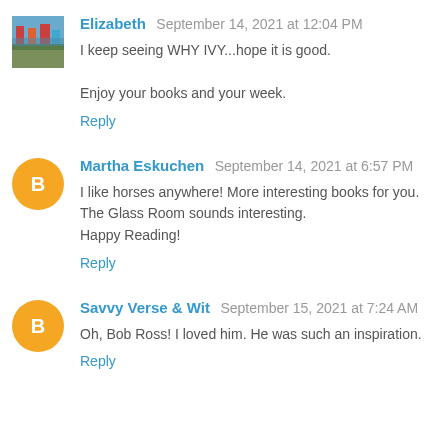Elizabeth  September 14, 2021 at 12:04 PM
I keep seeing WHY IVY...hope it is good.

Enjoy your books and your week.
Reply
Martha Eskuchen  September 14, 2021 at 6:57 PM
I like horses anywhere! More interesting books for you. The Glass Room sounds interesting.
Happy Reading!
Reply
Savvy Verse & Wit  September 15, 2021 at 7:24 AM
Oh, Bob Ross! I loved him. He was such an inspiration.
Reply